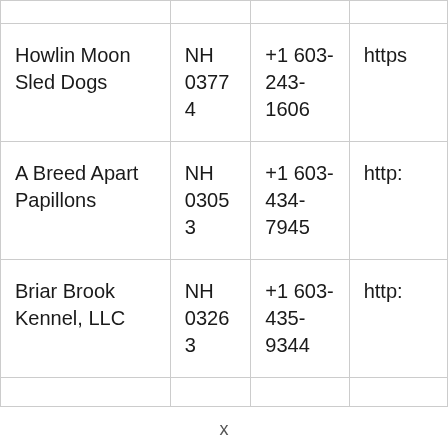| Howlin Moon Sled Dogs | NH 03774 | +1 603-243-1606 | https |
| A Breed Apart Papillons | NH 03053 | +1 603-434-7945 | http: |
| Briar Brook Kennel, LLC | NH 03263 | +1 603-435-9344 | http: |